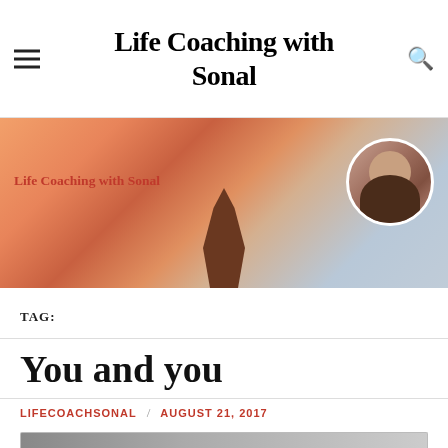Life Coaching with Sonal
[Figure (photo): Hero banner image showing desert rock formations at sunset with warm orange tones. Text overlay reads 'Life Coaching with Sonal' in red. Circular avatar photo of a smiling woman on the right side.]
TAG:
You and you
LIFECOACHSONAL / AUGUST 21, 2017
[Figure (photo): Partial thumbnail image at bottom of page, cropped.]